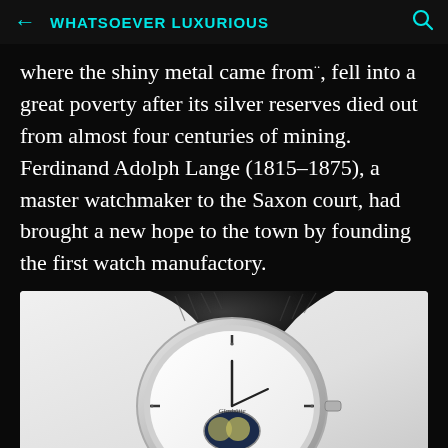WHATSOEVER LUXURIOUS
where the shiny metal came from··, fell into a great poverty after its silver reserves died out from almost four centuries of mining. Ferdinand Adolph Lange (1815–1875), a master watchmaker to the Saxon court, had brought a new hope to the town by founding the first watch manufactory.
[Figure (photo): A luxury wristwatch with a black leather strap and silver case displayed at an angle against a light background, showing the watch face with moon phase complication.]